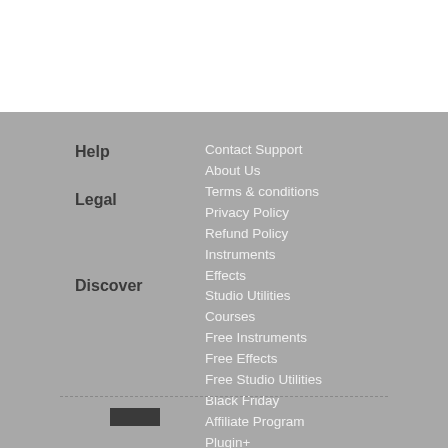Help
Contact Support
About Us
Legal
Terms & conditions
Privacy Policy
Refund Policy
Discover
Instruments
Effects
Studio Utilities
Courses
Free Instruments
Free Effects
Free Studio Utilities
Black Friday
Affiliate Program
Plugin+